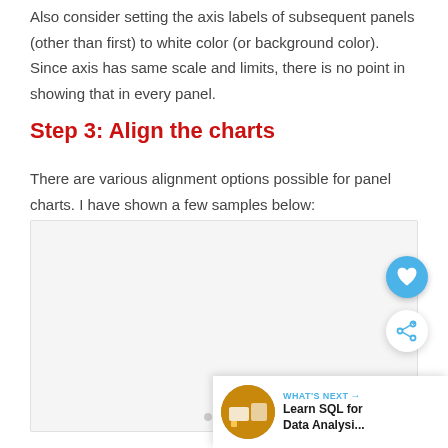Also consider setting the axis labels of subsequent panels (other than first) to white color (or background color). Since axis has same scale and limits, there is no point in showing that in every panel.
Step 3: Align the charts
There are various alignment options possible for panel charts. I have shown a few samples below:
[Figure (other): A large light gray placeholder image box with navigation dots at the bottom, representing a carousel of panel chart alignment sample images.]
[Figure (screenshot): WHAT'S NEXT panel with a thumbnail image and text 'Learn SQL for Data Analysi...' along with social action buttons (heart/like and share).]